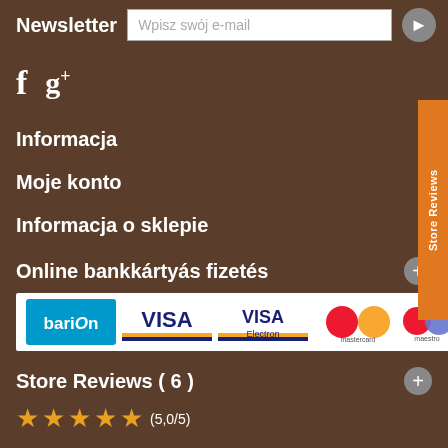Newsletter
Wpisz swój e-mail
[Figure (logo): Social media icons: Facebook (f) and Google+ (g+)]
Informacja
Moje konto
Informacja o sklepie
Online bankkártyás fizetés
[Figure (logo): Payment logos: Barion, VISA, VISA Electron, Mastercard, Maestro, American Express]
Store Reviews ( 6 )
★★★★★ (5,0/5)
Store Reviews